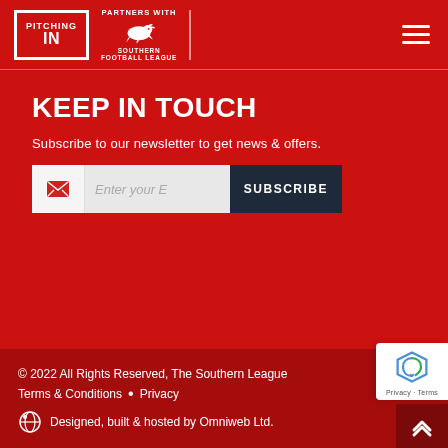[Figure (logo): Pitching In logo with red box and white text, alongside Southern Football League lion logo]
KEEP IN TOUCH
Subscribe to our newsletter to get news & offers.
Enter your Email | SUBSCRIBE
© 2022 All Rights Reserved, The Southern League
Terms & Conditions • Privacy
Designed, built & hosted by Omniweb Ltd.